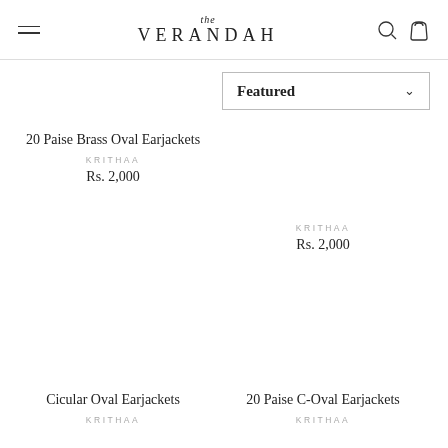the VERANDAH
Featured (dropdown)
20 Paise Brass Oval Earjackets
KRITHAA
Rs. 2,000
KRITHAA
Rs. 2,000
Cicular Oval Earjackets
KRITHAA
20 Paise C-Oval Earjackets
KRITHAA